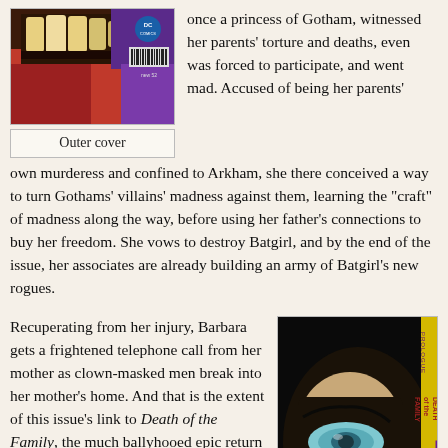[Figure (illustration): Comic book outer cover showing close-up of teeth and red costume, DC Comics label visible]
Outer cover
once a princess of Gotham, witnessed her parents' torture and deaths, even was forced to participate, and went mad. Accused of being her parents' own murderess and confined to Arkham, she there conceived a way to turn Gothams' villains' madness against them, learning the “craft” of madness along the way, before using her father's connections to buy her freedom. She vows to destroy Batgirl, and by the end of the issue, her associates are already building an army of Batgirl's new rogues.
Recuperating from her injury, Barbara gets a frightened telephone call from her mother as clown-masked men break into her mother's home. And that is the extent of this issue's link to Death of the Family, the much ballyhooed epic return of the Joker that will play out in multiple Bat-
[Figure (illustration): Batgirl comic book cover showing close-up of Batgirl's eye in mask, with Batgirl logo and Death of the Family text on yellow spine]